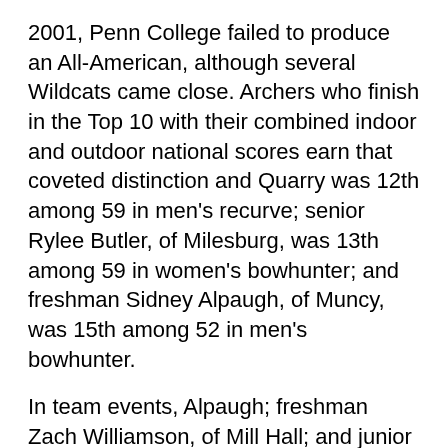2001, Penn College failed to produce an All-American, although several Wildcats came close. Archers who finish in the Top 10 with their combined indoor and outdoor national scores earn that coveted distinction and Quarry was 12th among 59 in men's recurve; senior Rylee Butler, of Milesburg, was 13th among 59 in women's bowhunter; and freshman Sidney Alpaugh, of Muncy, was 15th among 52 in men's bowhunter.
In team events, Alpaugh; freshman Zach Williamson, of Mill Hall; and junior David Fox, of Coburn, reached the quarterfinals in men's bowhunter.
Five Wildcats achieved Academic All-America honors: Butler, Fox, Alpaugh, Williamson and freshman Ryan McCrickerd, of Liberty.
Commenting on Quarry's showing, Karstetter said, “Trevor has been shooting strong all year. Coming in as a freshman and not having a lot of experience outdoors